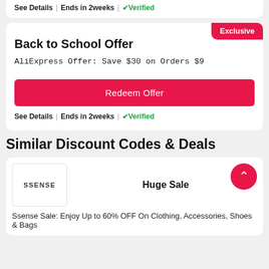See Details | Ends in 2weeks | ✅Verified
Back to School Offer
AliExpress Offer: Save $30 on Orders $9
Redeem Offer
See Details | Ends in 2weeks | ✅Verified
Similar Discount Codes & Deals
[Figure (logo): SSENSE store logo box]
Huge Sale
Ssense Sale: Enjoy Up to 60% OFF On Clothing, Accessories, Shoes & Bags